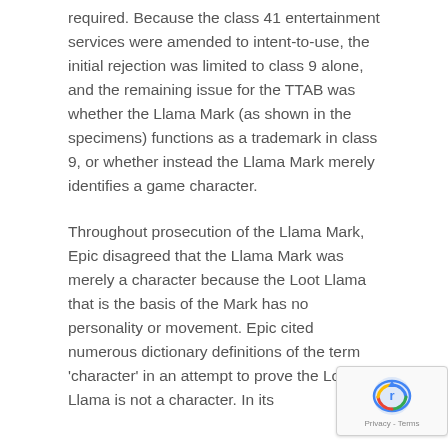required. Because the class 41 entertainment services were amended to intent-to-use, the initial rejection was limited to class 9 alone, and the remaining issue for the TTAB was whether the Llama Mark (as shown in the specimens) functions as a trademark in class 9, or whether instead the Llama Mark merely identifies a game character.
Throughout prosecution of the Llama Mark, Epic disagreed that the Llama Mark was merely a character because the Loot Llama that is the basis of the Mark has no personality or movement. Epic cited numerous dictionary definitions of the term 'character' in an attempt to prove the Loot Llama is not a character. In its
[Figure (other): reCAPTCHA badge with Privacy - Terms text]